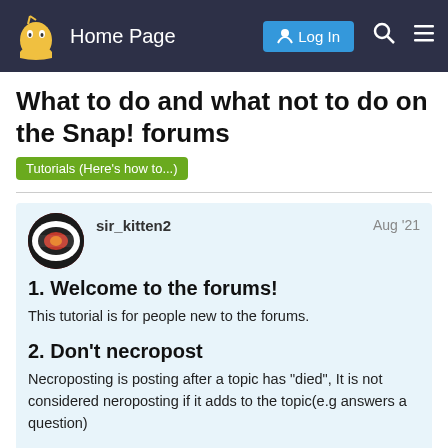Home Page | Log In
What to do and what not to do on the Snap! forums
Tutorials (Here's how to...)
sir_kitten2   Aug '21
1. Welcome to the forums!
This tutorial is for people new to the forums.
2. Don't necropost
Necroposting is posting after a topic has "died", It is not considered neroposting if it adds to the topic(e.g answers a question)
1 / 26